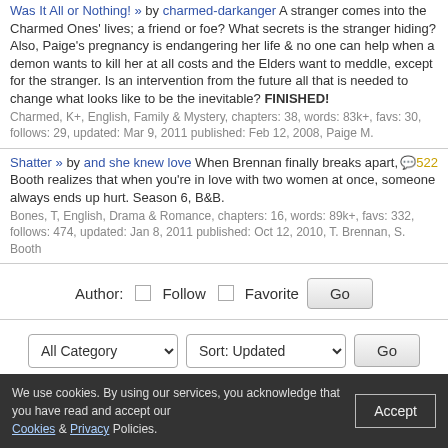Was It All or Nothing! » by charmed-darkanger A stranger comes into the Charmed Ones' lives; a friend or foe? What secrets is the stranger hiding? Also, Paige's pregnancy is endangering her life & no one can help when a demon wants to kill her at all costs and the Elders want to meddle, except for the stranger. Is an intervention from the future all that is needed to change what looks like to be the inevitable? FINISHED! Charmed, K+, English, Family & Mystery, chapters: 38, words: 83k+, favs: 30, follows: 29, updated: Mar 9, 2011 published: Feb 12, 2008, Paige M.
Shatter » by and she knew love When Brennan finally breaks apart, Booth realizes that when you're in love with two women at once, someone always ends up hurt. Season 6, B&B. Bones, T, English, Drama & Romance, chapters: 16, words: 89k+, favs: 332, follows: 474, updated: Jan 8, 2011 published: Oct 12, 2010, T. Brennan, S. Booth 522
Author: Follow Favorite Go
All Category Sort: Updated Go
We use cookies. By using our services, you acknowledge that you have read and accept our Cookies & Privacy Policies. Accept